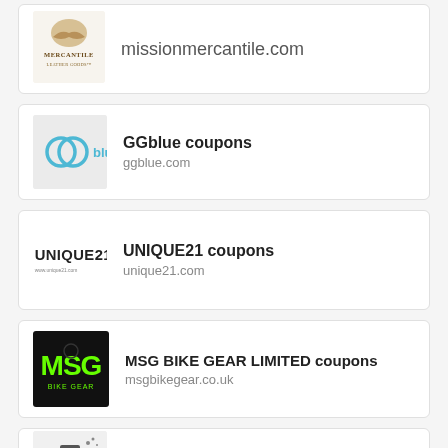[Figure (logo): Mission Mercantile Leather Goods logo with handshake image]
missionmercantile.com
[Figure (logo): GGblue logo on light gray background]
GGblue coupons
ggblue.com
[Figure (logo): UNIQUE21 text logo]
UNIQUE21 coupons
unique21.com
[Figure (logo): MSG BIKE GEAR logo on dark background with green text]
MSG BIKE GEAR LIMITED coupons
msgbikegear.co.uk
[Figure (logo): House of Swank partial logo]
House of Swank coupon codes